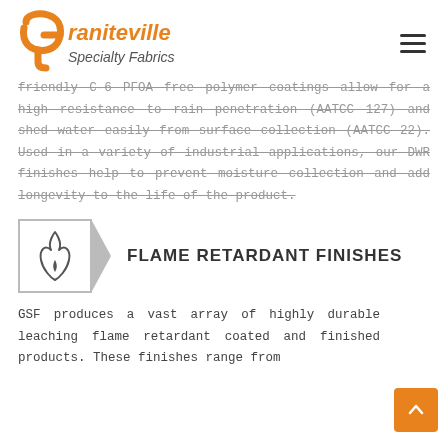Graniteville Specialty Fabrics
friendly C-6 PFOA free polymer coatings allow for a high resistance to rain penetration (AATCC 127) and shed water easily from surface collection (AATCC 22). Used in a variety of industrial applications, our DWR finishes help to prevent moisture collection and add longevity to the life of the product.
FLAME RETARDANT FINISHES
GSF produces a vast array of highly durable leaching flame retardant coated and finished products. These finishes range from